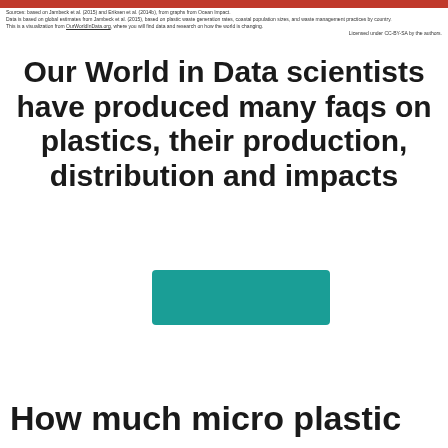Sources: based on Jambeck et al. (2015) and Eriksen et al. (2014b), from graphs from Ocean Impact.
Data is based on global estimates from Jambeck et al. (2015), based on plastic waste generation rates, coastal population sizes, and waste management practices by country.
This is a visualization from OurWorldInData.org, where you will find data and research on how the world is changing.
Licensed under CC-BY-SA by the authors.
Our World in Data scientists have produced many faqs on plastics, their production, distribution and impacts
[Figure (other): Teal/turquoise colored rectangular button element]
How much micro plastic are